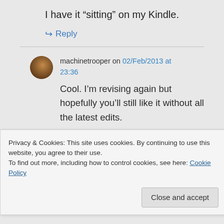I have it “sitting” on my Kindle.
↪ Reply
machinetrooper on 02/Feb/2013 at 23:36
Cool. I’m revising again but hopefully you’ll still like it without all the latest edits.
Privacy & Cookies: This site uses cookies. By continuing to use this website, you agree to their use.
To find out more, including how to control cookies, see here: Cookie Policy